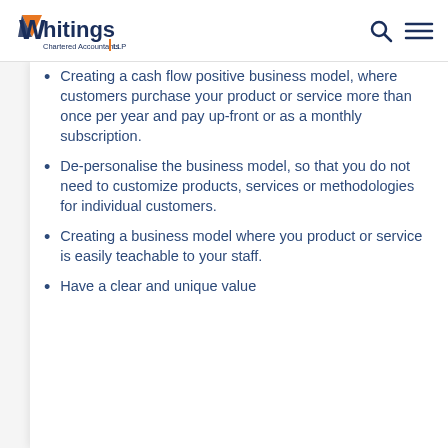Whitings Chartered Accountants LLP
Creating a cash flow positive business model, where customers purchase your product or service more than once per year and pay up-front or as a monthly subscription.
De-personalise the business model, so that you do not need to customize products, services or methodologies for individual customers.
Creating a business model where you product or service is easily teachable to your staff.
Have a clear and unique value